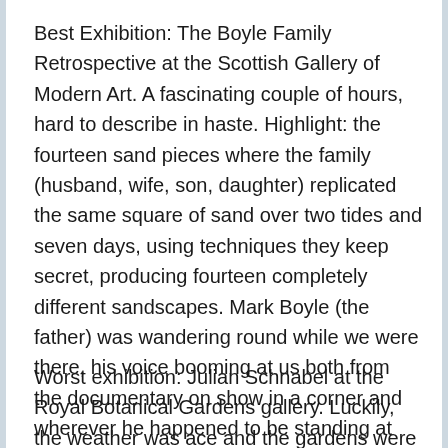Best Exhibition: The Boyle Family Retrospective at the Scottish Gallery of Modern Art. A fascinating couple of hours, hard to describe in haste. Highlight: the fourteen sand pieces where the family (husband, wife, son, daughter) replicated the same square of sand over two tides and seven days, using techniques they keep secret, producing fourteen completely different sandscapes. Mark Boyle (the father) was wandering round while we were there, his voice booming at us both from the documentary on show in a corner and wherever he happened to be standing at the time. A show that makes you look at the world afresh.
Worst exhibition: Julian Schnabel at the Royal Botanical Gardens gallery. Luckily, the weather was ace and the gardens were lovely because